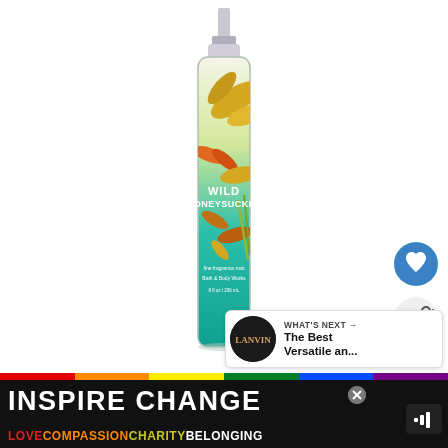[Figure (photo): Bath & Body Works Wild Honeysuckle fine fragrance mist spray bottle. Tall clear glass bottle with spray pump top, decorated with golden/yellow tropical leaf and flower motifs on a gradient background from clear/yellow at top to teal/turquoise at bottom. Label reads 'WILD HONEYSUCKLE fine fragrance mist Bath & Body Works 8 fl oz / 236 mL'.]
[Figure (screenshot): UI overlay elements: a blue circle heart/favorite button, a light grey circle share button with network icon, and a 'WHAT'S NEXT' card showing a Lanvin brand thumbnail and text 'The Best Versatile an...']
WHAT'S NEXT → The Best Versatile an...
[Figure (infographic): Bottom advertisement banner with black background, rainbow color strip, bold white text 'INSPIRE CHANGE' with a close X button, and a colorful subtext line: 'LOVE' in red, 'COMPASSION' in orange, 'CHARITY' in yellow-green, 'BELONGING' in white. A speaker/mute icon is on the right.]
INSPIRE CHANGE
LOVECOMPASSIONCHARITYBELONGING